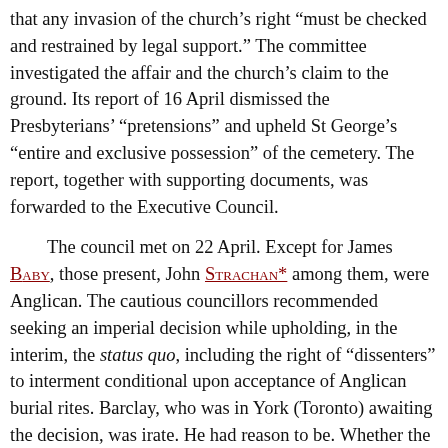that any invasion of the church’s right “must be checked and restrained by legal support.” The committee investigated the affair and the church’s claim to the ground. Its report of 16 April dismissed the Presbyterians’ “pretensions” and upheld St George’s “entire and exclusive possession” of the cemetery. The report, together with supporting documents, was forwarded to the Executive Council.
The council met on 22 April. Except for James Baby, those present, John Strachan* among them, were Anglican. The cautious councillors recommended seeking an imperial decision while upholding, in the interim, the status quo, including the right of “dissenters” to interment conditional upon acceptance of Anglican burial rites. Barclay, who was in York (Toronto) awaiting the decision, was irate. He had reason to be. Whether the councillors were conscious of the fact or not, there was an Anglican bias to the documents upon which they made their decision. In his letter of 22 June referring the matter to Colonial